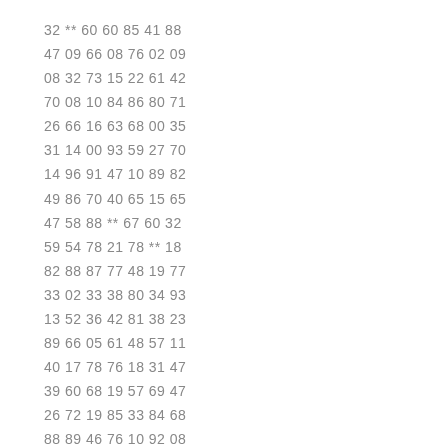32 ** 60 60 85 41 88
47 09 66 08 76 02 09
08 32 73 15 22 61 42
70 08 10 84 86 80 71
26 66 16 63 68 00 35
31 14 00 93 59 27 70
14 96 91 47 10 89 82
49 86 70 40 65 15 65
47 58 88 ** 67 60 32
59 54 78 21 78 ** 18
82 88 87 77 48 19 77
33 02 33 38 80 34 93
13 52 36 42 81 38 23
89 66 05 61 48 57 11
40 17 78 76 18 31 47
39 60 68 19 57 69 47
26 72 19 85 33 84 68
88 89 46 76 10 92 08
16 48 48 45 15 46 07